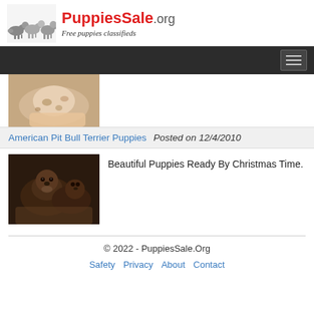[Figure (logo): PuppiesSale.org logo with three dachshund puppies and text 'PuppiesSale.org Free puppies classifieds']
[Figure (photo): Partial photo of a spotted/dalmatian puppy from a previous listing]
American Pit Bull Terrier Puppies   Posted on 12/4/2010
[Figure (photo): Photo of American Pit Bull Terrier puppies, dark colored, newborn or very young]
Beautiful Puppies Ready By Christmas Time.
© 2022 - PuppiesSale.Org
Safety  Privacy  About  Contact